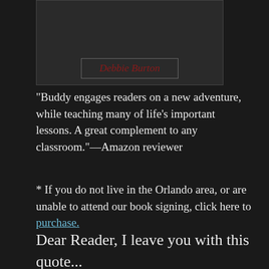[Figure (illustration): Partial view of a book cover showing author name 'Debbie Burton' in red italic serif font inside a bordered box on a dark background]
“Buddy engages readers on a new adventure, while teaching many of life’s important lessons. A great complement to any classroom.”—Amazon reviewer
* If you do not live in the Orlando area, or are unable to attend our book signing, click here to purchase.
Dear Reader, I leave you with this quote...